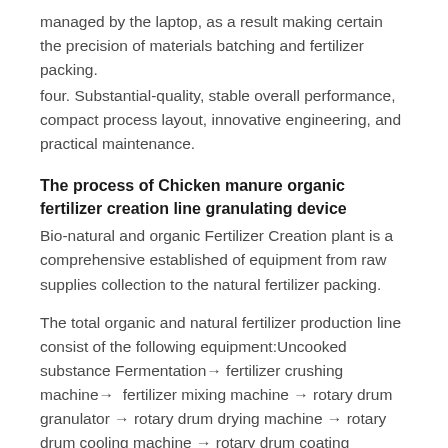managed by the laptop, as a result making certain the precision of materials batching and fertilizer packing.
four. Substantial-quality, stable overall performance, compact process layout, innovative engineering, and practical maintenance.
The process of Chicken manure organic fertilizer creation line granulating device
Bio-natural and organic Fertilizer Creation plant is a comprehensive established of equipment from raw supplies collection to the natural fertilizer packing.
The total organic and natural fertilizer production line consist of the following equipment:Uncooked substance Fermentation→ fertilizer crushing machine→  fertilizer mixing machine → rotary drum granulator → rotary drum drying machine → rotary drum cooling machine → rotary drum coating machine → rotary screening machine → packaging